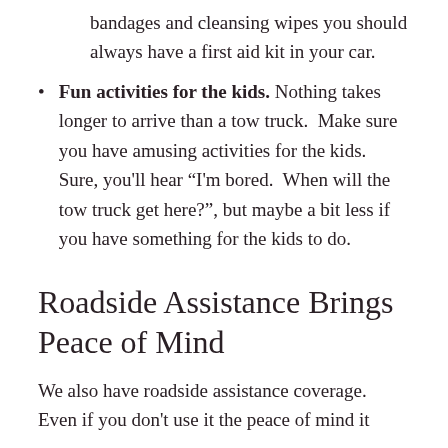bandages and cleansing wipes you should always have a first aid kit in your car.
Fun activities for the kids. Nothing takes longer to arrive than a tow truck.  Make sure you have amusing activities for the kids.  Sure, you'll hear “I'm bored.  When will the tow truck get here?”, but maybe a bit less if you have something for the kids to do.
Roadside Assistance Brings Peace of Mind
We also have roadside assistance coverage.  Even if you don't use it the peace of mind it